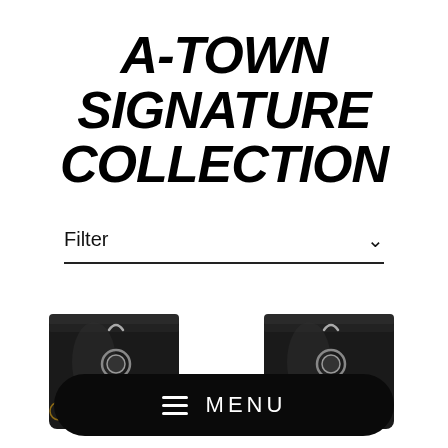A-TOWN SIGNATURE COLLECTION
Filter
[Figure (photo): Two black coffee/product bags with gold 'NEW' label badges and a circular vent/valve, displayed side by side on a white background.]
MENU